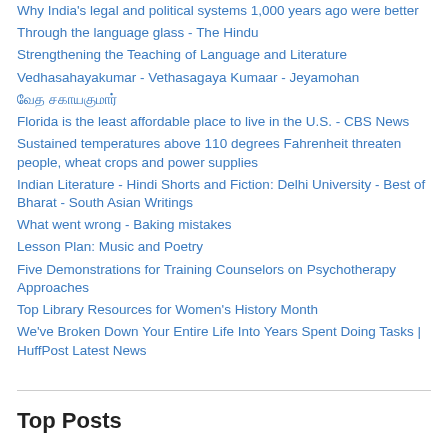Why India's legal and political systems 1,000 years ago were better
Through the language glass - The Hindu
Strengthening the Teaching of Language and Literature
Vedhasahayakumar - Vethasagaya Kumaar - Jeyamohan
வேத சகாயகுமார்
Florida is the least affordable place to live in the U.S. - CBS News
Sustained temperatures above 110 degrees Fahrenheit threaten people, wheat crops and power supplies
Indian Literature - Hindi Shorts and Fiction: Delhi University - Best of Bharat - South Asian Writings
What went wrong - Baking mistakes
Lesson Plan: Music and Poetry
Five Demonstrations for Training Counselors on Psychotherapy Approaches
Top Library Resources for Women's History Month
We've Broken Down Your Entire Life Into Years Spent Doing Tasks | HuffPost Latest News
Top Posts